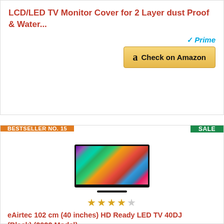LCD/LED TV Monitor Cover for 2 Layer dust Proof & Water...
[Figure (other): Amazon Prime badge and Check on Amazon button for first product]
BESTSELLER NO. 15
SALE
[Figure (photo): eAirtec LED TV displaying colorful flower image on screen]
[Figure (other): Star rating: 4 out of 5 stars]
eAirtec 102 cm (40 inches) HD Ready LED TV 40DJ (Black) (2022 Model)
[Figure (other): Amazon Prime badge and Check on Amazon button for second product]